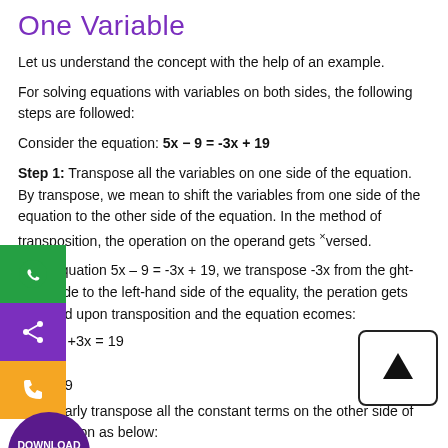One Variable
Let us understand the concept with the help of an example.
For solving equations with variables on both sides, the following steps are followed:
Consider the equation: 5x − 9 = -3x + 19
Step 1: Transpose all the variables on one side of the equation. By transpose, we mean to shift the variables from one side of the equation to the other side of the equation. In the method of transposition, the operation on the operand gets reversed.
In the equation 5x – 9 = -3x + 19, we transpose -3x from the right-hand side to the left-hand side of the equality, the operation gets reversed upon transposition and the equation becomes:
Step 2: Similarly transpose all the constant terms on the other side of the equation as below: